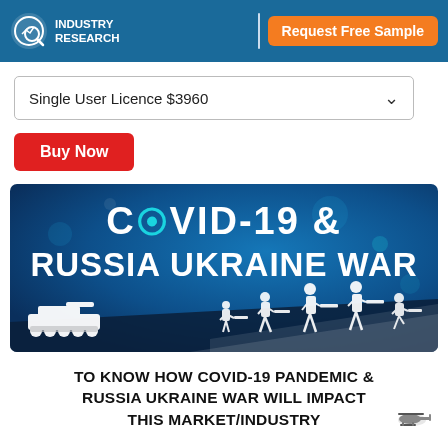INDUSTRY RESEARCH | Request Free Sample
Single User Licence $3960
Buy Now
[Figure (infographic): COVID-19 & Russia Ukraine War promotional banner with tank and soldier silhouettes on a dark blue background]
TO KNOW HOW COVID-19 PANDEMIC & RUSSIA UKRAINE WAR WILL IMPACT THIS MARKET/INDUSTRY